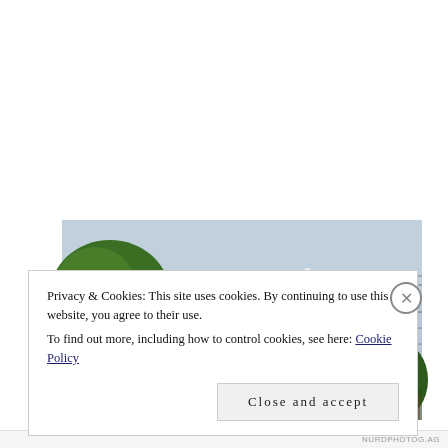[Figure (photo): Outdoor photograph showing a bird nest on top of a tall utility pole with power lines, trees visible on the left and right sides, a light blue sky background, and a bird (stork) visible on the nest.]
Privacy & Cookies: This site uses cookies. By continuing to use this website, you agree to their use.
To find out more, including how to control cookies, see here: Cookie Policy
Close and accept
NURDPHOTOG.AG